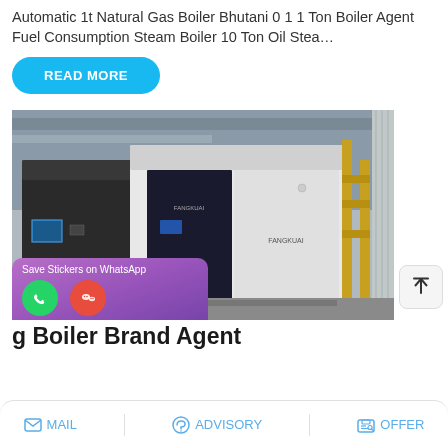Automatic 1t Natural Gas Boiler Bhutani 0 1 1ton Boiler Agent Fuel Consumption Steam Boiler 10 Ton Oil Stea…
READ MORE
[Figure (photo): Industrial natural gas steam boiler unit by Fangkuai brand, black and white cabinet-style boiler with gas piping visible in an industrial warehouse setting]
Save Stickers on WhatsApp
g Boiler Brand Agent
MAIL   ADVISORY   OFFER